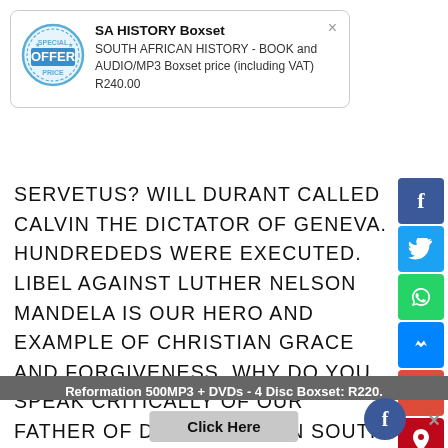[Figure (other): Popup advertisement box for SA HISTORY Boxset with an 'OFFER' badge/stamp icon, close button (×), title 'SA HISTORY Boxset', and description text 'SOUTH AFRICAN HISTORY - BOOK and AUDIO/MP3 Boxset price (including VAT) R240.00']
SERVETUS? WILL DURANT CALLED CALVIN THE DICTATOR OF GENEVA. HUNDREDEDS WERE EXECUTED. LIBEL AGAINST LUTHER NELSON MANDELA IS OUR HERO AND EXAMPLE OF CHRISTIAN GRACE AND FORGIVENESS. WHY DO YOU SPEAK CRITICALLY OF OUR FATHER OF DEMOCRACY IN SOUTH AFRICA? IT MAKES ME SAD. OK
[Figure (other): Social media share sidebar with buttons: Facebook (dark blue, f), Twitter (light blue, bird), WhatsApp (green, phone), Messenger (blue, lightning), Google+ (red, G+), Pinterest (red, P), More (grey, ...)]
Reformation 500MP3 + DVDs - 4 Disc Boxset: R220.
Click Here